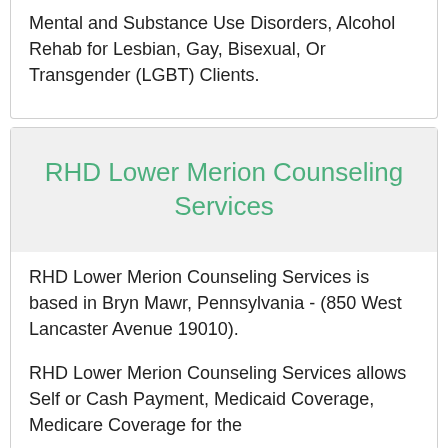Mental and Substance Use Disorders, Alcohol Rehab for Lesbian, Gay, Bisexual, Or Transgender (LGBT) Clients.
RHD Lower Merion Counseling Services
RHD Lower Merion Counseling Services is based in Bryn Mawr, Pennsylvania - (850 West Lancaster Avenue 19010).
RHD Lower Merion Counseling Services allows Self or Cash Payment, Medicaid Coverage, Medicare Coverage for the